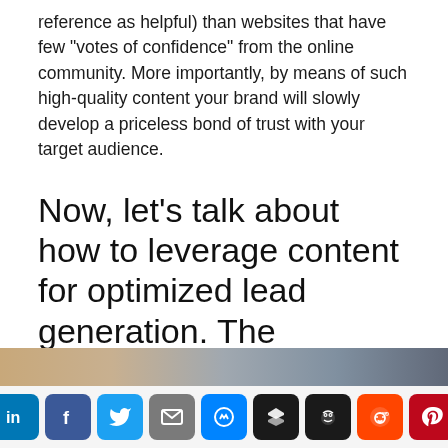reference as helpful) than websites that have few "votes of confidence" from the online community. More importantly, by means of such high-quality content your brand will slowly develop a priceless bond of trust with your target audience.
Now, let's talk about how to leverage content for optimized lead generation. The classification of consumers according to "funnel stage" plays a huge role in such efforts.
[Figure (photo): Partially visible blurred image strip at the bottom of the content area, showing warm and cool tones.]
[Figure (infographic): Social sharing button bar with icons for LinkedIn, Facebook, Twitter, Email, Messenger, Buffer, Hootsuite, Reddit, and Pinterest.]